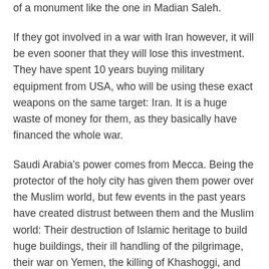of a monument like the one in Madian Saleh.
If they got involved in a war with Iran however, it will be even sooner that they will lose this investment. They have spent 10 years buying military equipment from USA, who will be using these exact weapons on the same target: Iran. It is a huge waste of money for them, as they basically have financed the whole war.
Saudi Arabia's power comes from Mecca. Being the protector of the holy city has given them power over the Muslim world, but few events in the past years have created distrust between them and the Muslim world: Their destruction of Islamic heritage to build huge buildings, their ill handling of the pilgrimage, their war on Yemen, the killing of Khashoggi, and their continues support of Israel.